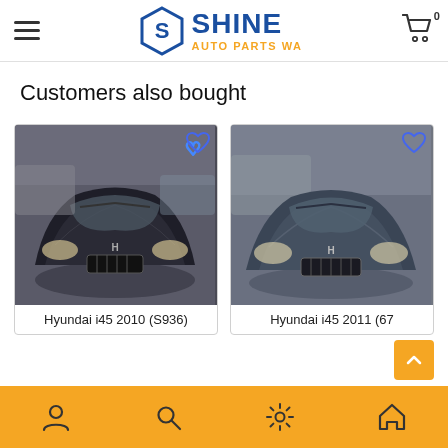SHINE Auto Parts WA
Customers also bought
[Figure (photo): Hyundai i45 2010 (S936) - dark colored sedan, front/hood view in wrecking yard]
Hyundai i45 2010 (S936)
[Figure (photo): Hyundai i45 2011 (67...) - dark blue/grey sedan, front/hood view in wrecking yard]
Hyundai i45 2011 (67
bottom navigation bar with account, search, settings, home icons